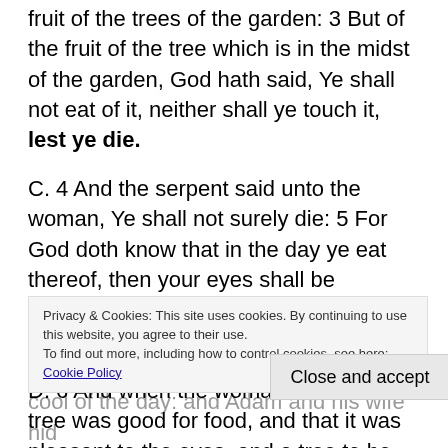fruit of the trees of the garden: 3 But of the fruit of the tree which is in the midst of the garden, God hath said, Ye shall not eat of it, neither shall ye touch it, lest ye die.
C. 4 And the serpent said unto the woman, Ye shall not surely die: 5 For God doth know that in the day ye eat thereof, then your eyes shall be opened, and ye shall be as gods, knowing good and evil.
D. 6 And when the woman saw that the tree was good for food, and that it was pleasant to the eyes, and a tree to be desired to make one wise, she took of the fruit thereof, and did eat, and gave also unto her husband with her; and he did eat. 7 And the eyes of them both were opened, and they knew that they were naked; and they sewed fig leaves together, and made themselves aprons.
Privacy & Cookies: This site uses cookies. By continuing to use this website, you agree to their use. To find out more, including how to control cookies, see here: Cookie Policy
Close and accept
E. 8 And they heard the voice of the LORD God walking in the garden in the cool of the day: and Adam and his wife hid